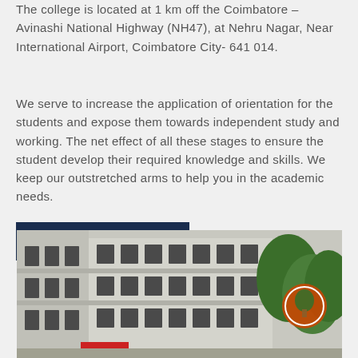The college is located at 1 km off the Coimbatore – Avinashi National Highway (NH47), at Nehru Nagar, Near International Airport, Coimbatore City- 641 014.
We serve to increase the application of orientation for the students and expose them towards independent study and working. The net effect of all these stages to ensure the student develop their required knowledge and skills. We keep our outstretched arms to help you in the academic needs.
Read More Information
[Figure (photo): Exterior photograph of a college building — a multi-storey white/grey concrete structure with windows. Trees visible on the right side. A circular logo/sign visible on the right side of the image.]